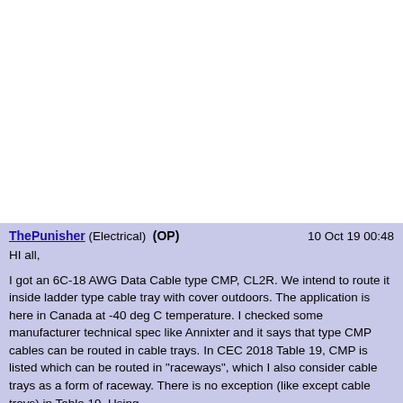ThePunisher (Electrical)  (OP)   10 Oct 19 00:48

HI all,

I got an 6C-18 AWG Data Cable type CMP, CL2R. We intend to route it inside ladder type cable tray with cover outdoors. The application is here in Canada at -40 deg C temperature. I checked some manufacturer technical spec like Annixter and it says that type CMP cables can be routed in cable trays. In CEC 2018 Table 19, CMP is listed which can be routed in "raceways", which I also consider cable trays as a form of raceway. There is no exception (like except cable trays) in Table 19. Using